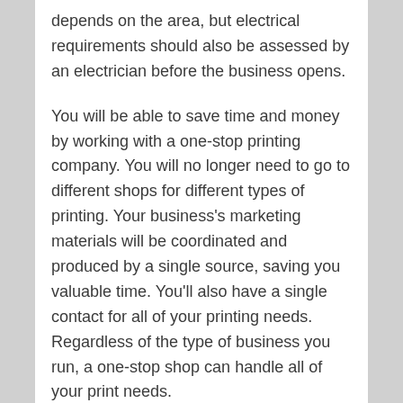depends on the area, but electrical requirements should also be assessed by an electrician before the business opens.
You will be able to save time and money by working with a one-stop printing company. You will no longer need to go to different shops for different types of printing. Your business's marketing materials will be coordinated and produced by a single source, saving you valuable time. You'll also have a single contact for all of your printing needs. Regardless of the type of business you run, a one-stop shop can handle all of your print needs.